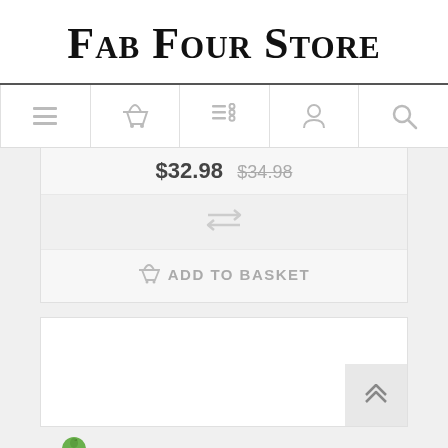Fab Four Store
[Figure (screenshot): Navigation bar with icons: menu/list, basket, list-settings, user/person, search]
$32.98  $34.98 (strikethrough)
[Figure (other): Compare/swap arrows icon]
ADD TO BASKET
[Figure (logo): Beatles logo with apple icon]